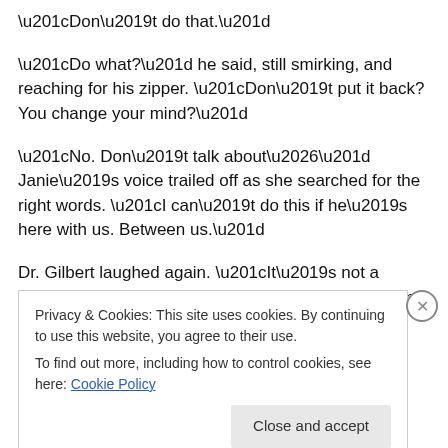“Don’t do that.”
“Do what?” he said, still smirking, and reaching for his zipper. “Don’t put it back? You change your mind?”
“No. Don’t talk about…” Janie’s voice trailed off as she searched for the right words. “I can’t do this if he’s here with us. Between us.”
Dr. Gilbert laughed again. “It’s not a problem for me. But then I’m not the one saying his name while we’re–”
“Enough!” Janie said, her cheeks red.
Privacy & Cookies: This site uses cookies. By continuing to use this website, you agree to their use.
To find out more, including how to control cookies, see here: Cookie Policy